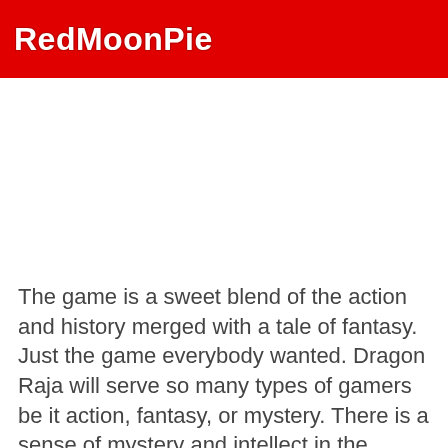RedMoonPie
The game is a sweet blend of the action and history merged with a tale of fantasy. Just the game everybody wanted. Dragon Raja will serve so many types of gamers be it action, fantasy, or mystery. There is a sense of mystery and intellect in the game.
Dragon Raja is surely not a brainless game where you will just have a single motive, of course leaving aside winning. Another cool dragon game